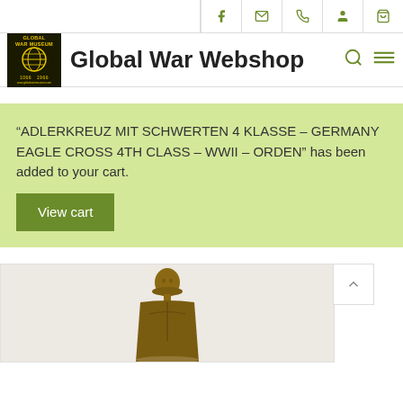Global War Webshop
“ADLERKREUZ MIT SCHWERTEN 4 KLASSE – GERMANY EAGLE CROSS 4TH CLASS – WWII – ORDEN” has been added to your cart.
View cart
[Figure (photo): Bronze statue or figurine of a military person, partially visible at the bottom of the page]